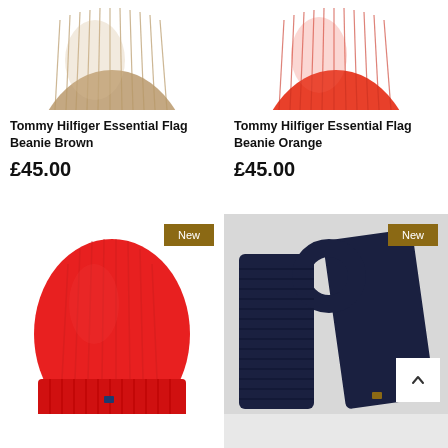[Figure (photo): Tommy Hilfiger Essential Flag Beanie in brown/tan color, cropped top view]
Tommy Hilfiger Essential Flag Beanie Brown
£45.00
[Figure (photo): Tommy Hilfiger Essential Flag Beanie in orange/red color, cropped top view]
Tommy Hilfiger Essential Flag Beanie Orange
£45.00
[Figure (photo): Red Tommy Hilfiger beanie hat with New badge]
[Figure (photo): Navy blue knitted scarf with New badge and scroll-to-top button]